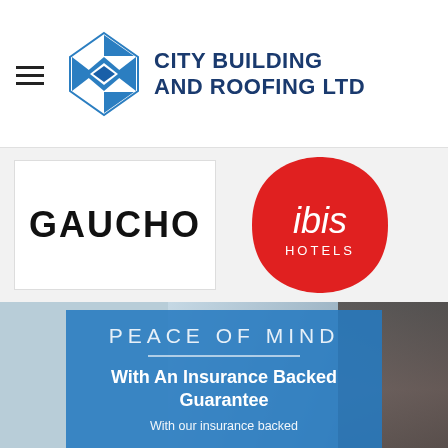[Figure (logo): City Building and Roofing Ltd logo with blue diamond geometric icon and company name in dark navy bold uppercase text]
[Figure (logo): Gaucho restaurant logo - black bold uppercase text on white background]
[Figure (logo): ibis Hotels logo - white italic text on red cushion-shaped background]
PEACE OF MIND
With An Insurance Backed Guarantee
With our insurance backed